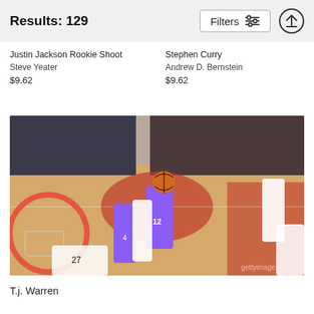Results: 129
Justin Jackson Rookie Shoot
Steve Yeater
$9.62
Stephen Curry
Andrew D. Bernstein
$9.62
[Figure (photo): Basketball game photo showing T.J. Warren (#12) of the Phoenix Suns driving to the basket at the Moda Center, home of the Portland Trail Blazers, with players from both teams around him and a packed arena in the background.]
T.j. Warren